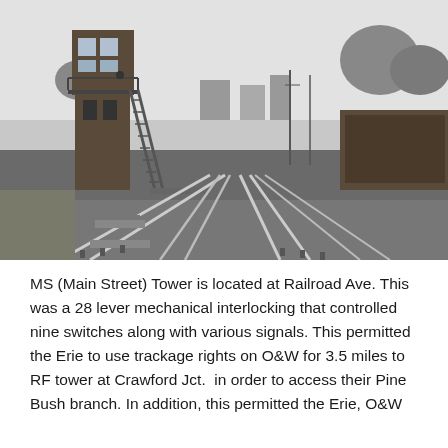[Figure (photo): Black and white photograph of MS (Main Street) Tower, a tall wooden railroad signal tower with exterior stairs and a balcony, located at a rail junction. Multiple converging tracks are visible in the foreground, with a freight car on the right side, telegraph poles, trees, and buildings visible in the background.]
MS (Main Street) Tower is located at Railroad Ave. This was a 28 lever mechanical interlocking that controlled nine switches along with various signals. This permitted the Erie to use trackage rights on O&W for 3.5 miles to RF tower at Crawford Jct.  in order to access their Pine Bush branch. In addition, this permitted the Erie, O&W